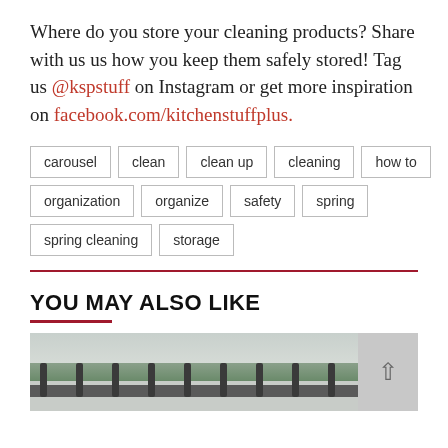Where do you store your cleaning products? Share with us us how you keep them safely stored! Tag us @kspstuff on Instagram or get more inspiration on facebook.com/kitchenstuffplus.
carousel
clean
clean up
cleaning
how to
organization
organize
safety
spring
spring cleaning
storage
YOU MAY ALSO LIKE
[Figure (photo): Outdoor bridge/fence railing photograph, partially visible at bottom of page]